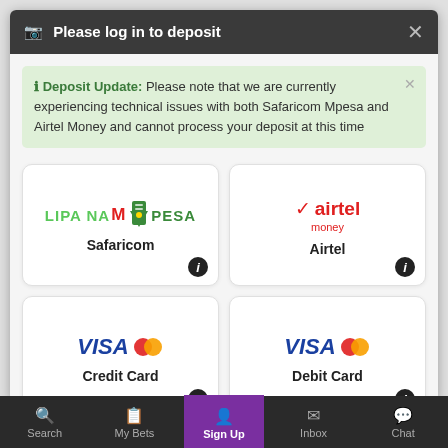Please log in to deposit
Deposit Update: Please note that we are currently experiencing technical issues with both Safaricom Mpesa and Airtel Money and cannot process your deposit at this time
[Figure (logo): Lipa Na Mpesa logo with Safaricom label]
[Figure (logo): Airtel Money logo with Airtel label]
[Figure (logo): Visa Mastercard logo with Credit Card label]
[Figure (logo): Visa Mastercard logo with Debit Card label]
Search  My Bets  Sign Up  Inbox  Chat